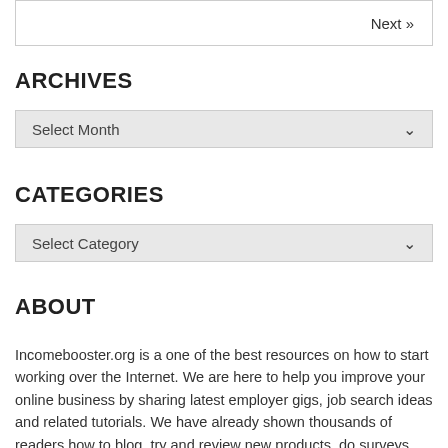Next »
ARCHIVES
Select Month
CATEGORIES
Select Category
ABOUT
Incomebooster.org is a one of the best resources on how to start working over the Internet. We are here to help you improve your online business by sharing latest employer gigs, job search ideas and related tutorials. We have already shown thousands of readers how to blog, try and review new products, do surveys, run a website or a blog and even post on forums for money. All of the